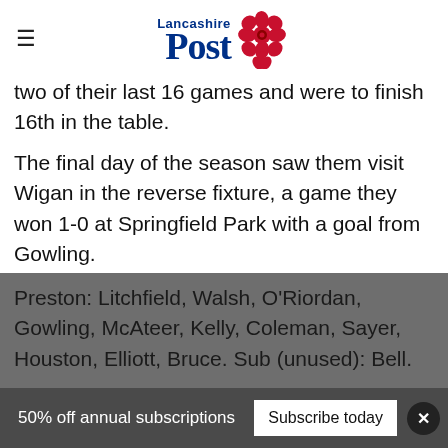Lancashire Post
two of their last 16 games and were to finish 16th in the table.
The final day of the season saw them visit Wigan in the reverse fixture, a game they won 1-0 at Springfield Park with a goal from Gowling.
Preston: Litchfield, Walsh, O'Riordan, Gowling, McAteer, Kelly, Coleman, Sayer, Houston, Elliott, Bruce. Sub (unused): Bell.
50% off annual subscriptions
Subscribe today